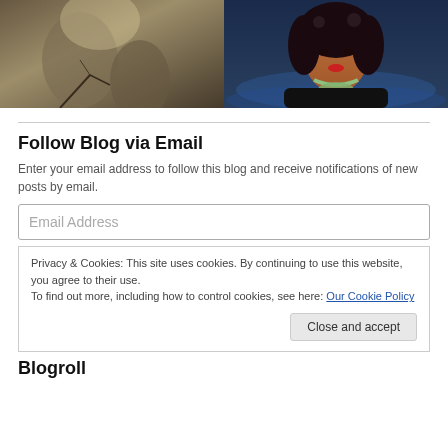[Figure (photo): Left photo: dark moody cave or forest scene with muted sepia/grey tones, rock or stone formation visible]
[Figure (photo): Right photo: illustrated/3D rendered portrait of a dark-skinned woman with elaborate hair, jeweled necklace, black outfit, blue background]
Follow Blog via Email
Enter your email address to follow this blog and receive notifications of new posts by email.
Email Address
Privacy & Cookies: This site uses cookies. By continuing to use this website, you agree to their use.
To find out more, including how to control cookies, see here: Our Cookie Policy
Close and accept
Blogroll